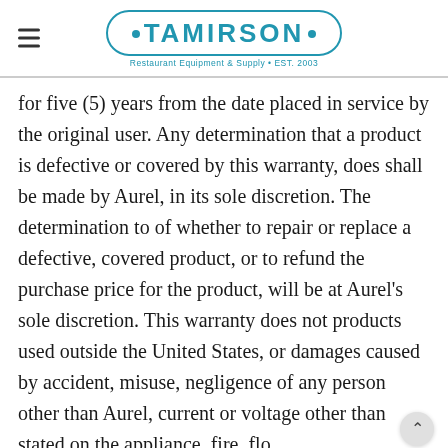TAMIRSON • Restaurant Equipment & Supply • EST. 2003
for five (5) years from the date placed in service by the original user. Any determination that a product is defective or covered by this warranty, does shall be made by Aurel, in its sole discretion. The determination to of whether to repair or replace a defective, covered product, or to refund the purchase price for the product, will be at Aurel's sole discretion. This warranty does not products used outside the United States, or damages caused by accident, misuse, negligence of any person other than Aurel, current or voltage other than stated on the appliance, fire, flo